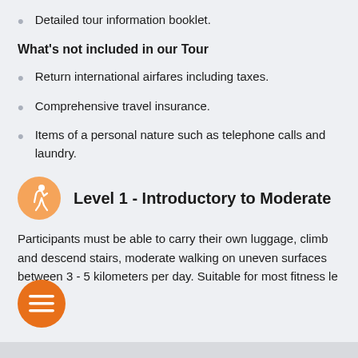Detailed tour information booklet.
What's not included in our Tour
Return international airfares including taxes.
Comprehensive travel insurance.
Items of a personal nature such as telephone calls and laundry.
Level 1 - Introductory to Moderate
Participants must be able to carry their own luggage, climb and descend stairs, moderate walking on uneven surfaces between 3 - 5 kilometers per day. Suitable for most fitness le...